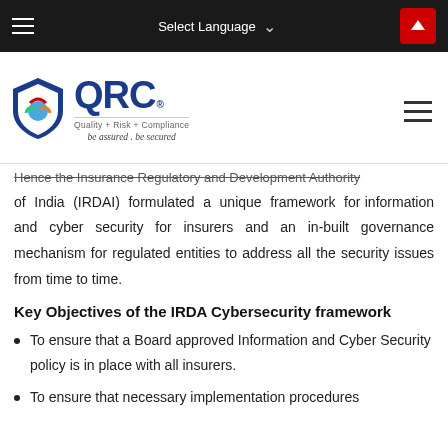Select Language
[Figure (logo): QRC Quality + Risk + Compliance logo with shield graphic and tagline 'be assured . be secured']
Hence the Insurance Regulatory and Development Authority of India (IRDAI) formulated a unique framework for information and cyber security for insurers and an in-built governance mechanism for regulated entities to address all the security issues from time to time.
Key Objectives of the IRDA Cybersecurity framework
To ensure that a Board approved Information and Cyber Security policy is in place with all insurers.
To ensure that necessary implementation procedures